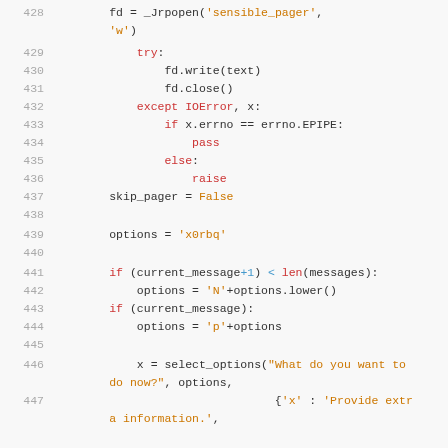[Figure (screenshot): Python source code lines 428-447 showing file write operations with try/except handling, skip_pager assignment, options string assignments, conditional checks and select_options call]